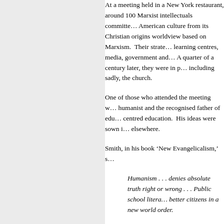At a meeting held in a New York restaurant, around 100 Marxist intellectuals committed to change American culture from its Christian origins to a worldview based on Marxism. Their strategy was to infiltrate learning centres, media, government and other institutions. A quarter of a century later, they were in positions of power including sadly, the church.
One of those who attended the meeting was a secular humanist and the recognised father of educationally child-centred education. His ideas were sown in America and elsewhere.
Smith, in his book 'New Evangelicalism,' states:
Humanism . . . denies absolute truth, denies right or wrong . . . Public school literacy means better citizens in a new world order.
Country, family and God are no longer sacred but are seen as causes for bigotry, narrow mindedness, intolerance.
The humanist teaches our children morality of the emerging elitist class who will